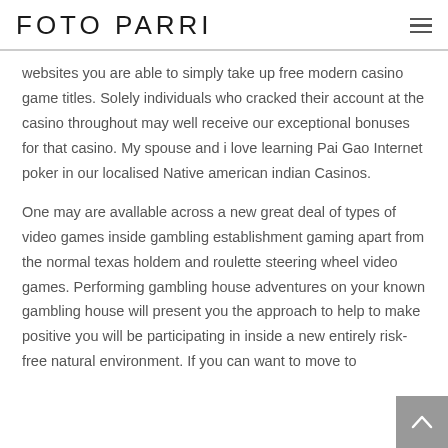FOTO PARRI
websites you are able to simply take up free modern casino game titles. Solely individuals who cracked their account at the casino throughout may well receive our exceptional bonuses for that casino. My spouse and i love learning Pai Gao Internet poker in our localised Native american indian Casinos.
One may are avallable across a new great deal of types of video games inside gambling establishment gaming apart from the normal texas holdem and roulette steering wheel video games. Performing gambling house adventures on your known gambling house will present you the approach to help to make positive you will be participating in inside a new entirely risk-free natural environment. If you can want to move to